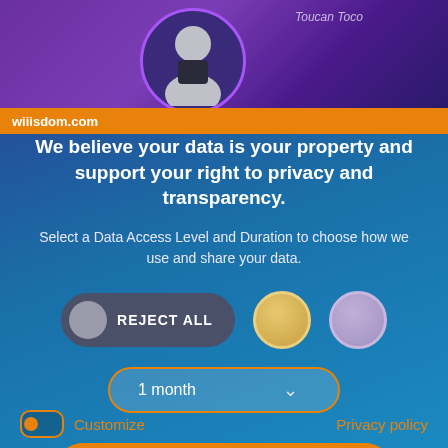Toucan Toco
wiiisdom.com
We believe your data is your property and support your right to privacy and transparency.
Select a Data Access Level and Duration to choose how we use and share your data.
[Figure (screenshot): REJECT ALL button with grey circle icon on left, gold circle icon, and lavender circle icon to the right]
[Figure (screenshot): 1 month dropdown selector with orange border and chevron arrow]
Save my preferences
Customize   Privacy policy